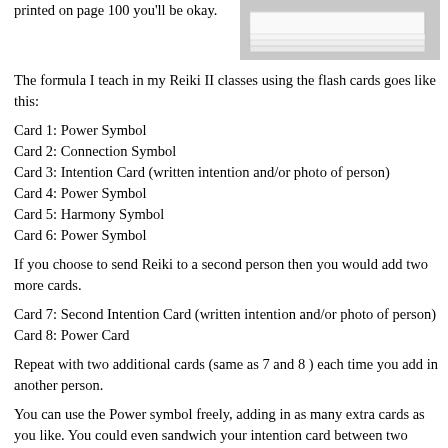printed on page 100 you'll be okay.
[Figure (photo): Stack of white flash cards or index cards, photographed at an angle showing the edges.]
The formula I teach in my Reiki II classes using the flash cards goes like this:
Card 1: Power Symbol
Card 2: Connection Symbol
Card 3: Intention Card (written intention and/or photo of person)
Card 4: Power Symbol
Card 5: Harmony Symbol
Card 6: Power Symbol
If you choose to send Reiki to a second person then you would add two more cards.
Card 7: Second Intention Card (written intention and/or photo of person)
Card 8: Power Card
Repeat with two additional cards (same as 7 and 8 ) each time you add in another person.
You can use the Power symbol freely, adding in as many extra cards as you like. You could even sandwich your intention card between two Power cards. Add an extra power symbols into the formula whenever you feel the situation could use an extra punch